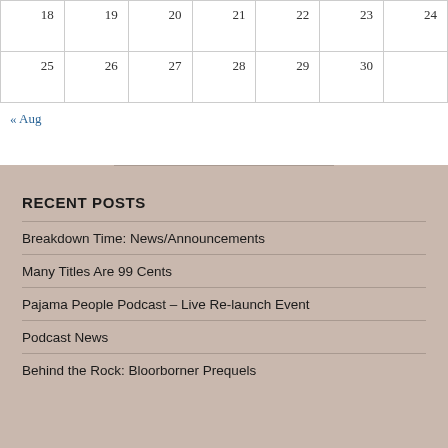| 18 | 19 | 20 | 21 | 22 | 23 | 24 |
| 25 | 26 | 27 | 28 | 29 | 30 |  |
« Aug
RECENT POSTS
Breakdown Time: News/Announcements
Many Titles Are 99 Cents
Pajama People Podcast – Live Re-launch Event
Podcast News
Behind the Rock: Bloorborner Prequels